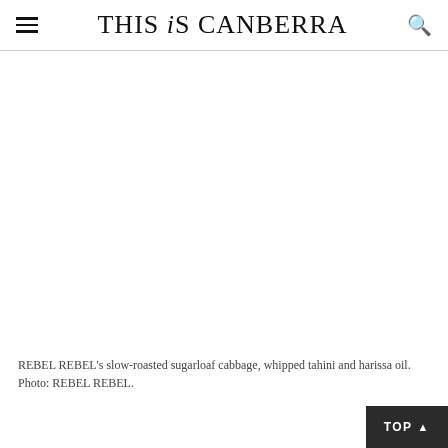THIS iS CANBERRA
[Figure (photo): Large photo placeholder area — image of REBEL REBEL's slow-roasted sugarloaf cabbage, whipped tahini and harissa oil (not rendered/visible in source)]
REBEL REBEL's slow-roasted sugarloaf cabbage, whipped tahini and harissa oil. Photo: REBEL REBEL.